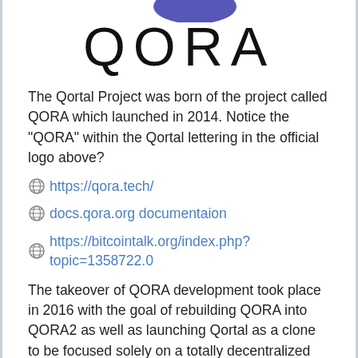[Figure (logo): QORA logo with partial blue swoosh at top and large QORA lettering in thin black font]
The Qortal Project was born of the project called QORA which launched in 2014. Notice the "QORA" within the Qortal lettering in the official logo above?
🌐 https://qora.tech/
🌐 docs.qora.org documentaion
🌐 https://bitcointalk.org/index.php?topic=1358722.0
The takeover of QORA development took place in 2016 with the goal of rebuilding QORA into QORA2 as well as launching Qortal as a clone to be focused solely on a totally decentralized trade portal. However, since the takeover, many things have been modified in terms of